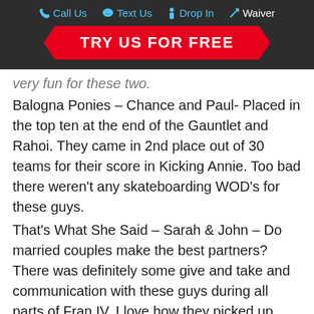Call Us  Text Us  Drop In  Waiver
TRY US FOR FREE
very fun for these two.
Balogna Ponies – Chance and Paul- Placed in the top ten at the end of the Gauntlet and Rahoi. They came in 2nd place out of 30 teams for their score in Kicking Annie. Too bad there weren't any skateboarding WOD's for these guys.
That's What She Said – Sarah & John – Do married couples make the best partners? There was definitely some give and take and communication with these guys during all parts of Fran IV. I love how they picked up where the other left off. HR idea and Credit: Direction on the